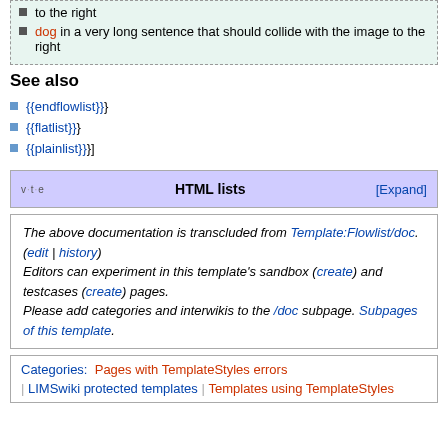to the right
dog in a very long sentence that should collide with the image to the right
See also
{{endflowlist}}
{{flatlist}}
{{plainlist}}]
v · t · e   HTML lists   [Expand]
The above documentation is transcluded from Template:Flowlist/doc. (edit | history) Editors can experiment in this template's sandbox (create) and testcases (create) pages. Please add categories and interwikis to the /doc subpage. Subpages of this template.
Categories: Pages with TemplateStyles errors | LIMSwiki protected templates | Templates using TemplateStyles